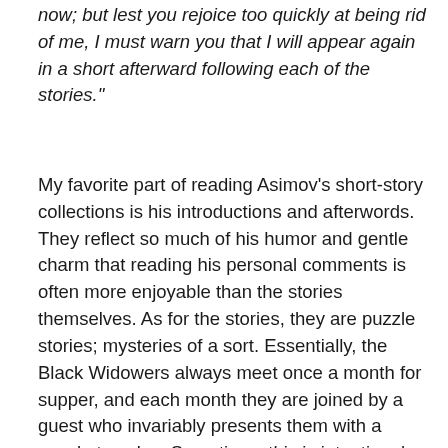now; but lest you rejoice too quickly at being rid of me, I must warn you that I will appear again in a short afterward following each of the stories."
My favorite part of reading Asimov's short-story collections is his introductions and afterwords. They reflect so much of his humor and gentle charm that reading his personal comments is often more enjoyable than the stories themselves. As for the stories, they are puzzle stories; mysteries of a sort. Essentially, the Black Widowers always meet once a month for supper, and each month they are joined by a guest who invariably presents them with a puzzle to solve. Sometimes this is intentional, the guest having been invited just so he can enjoy the advice they offer. Sometimes the puzzle emerges accidentally, such as in “Nothing Like Murder”. The guest is a Soviet scientist who expresses his amazement that in New York